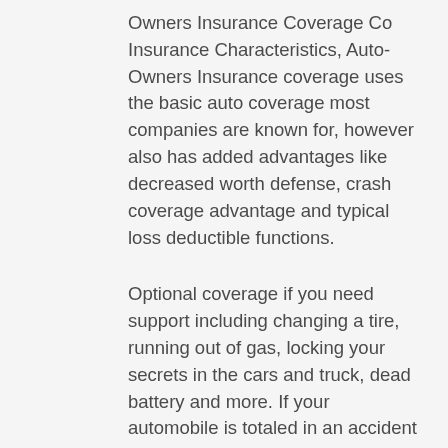Owners Insurance Coverage Co Insurance Characteristics, Auto-Owners Insurance coverage uses the basic auto coverage most companies are known for, however also has added advantages like decreased worth defense, crash coverage advantage and typical loss deductible functions.
Optional coverage if you need support including changing a tire, running out of gas, locking your secrets in the cars and truck, dead battery and more. If your automobile is totaled in an accident and the value is less than your remaining loan or lease amount, this optional